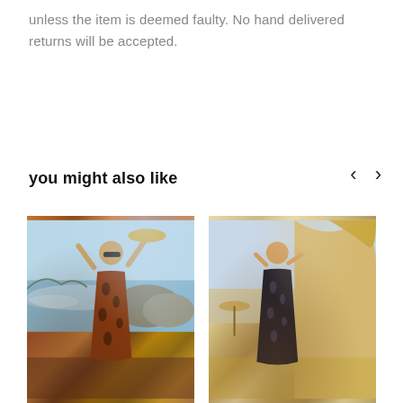unless the item is deemed faulty. No hand delivered returns will be accepted.
you might also like
[Figure (photo): Fashion model in animal print dress on a beach with sea and rocks in background]
[Figure (photo): Fashion model in dark animal print dress leaning against rocky cliff in outdoor setting]